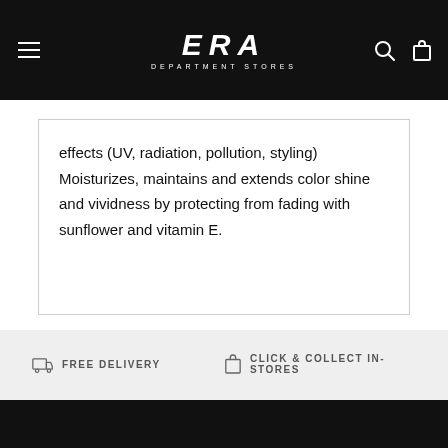ERA DEPARTMENT STORES
effects (UV, radiation, pollution, styling) Moisturizes, maintains and extends color shine and vividness by protecting from fading with sunflower and vitamin E.
FREE DELIVERY
CLICK & COLLECT IN-STORES
UNIQUE BY ERMES
RESPONSIBLE PACKAGING